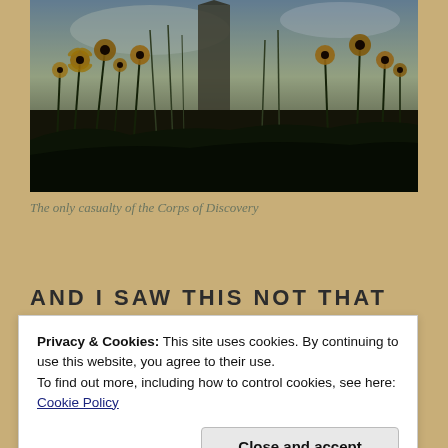[Figure (photo): Low-angle photograph of yellow wildflowers and tall grasses silhouetted against a twilight sky, with a large stone monument or obelisk visible in the background center.]
The only casualty of the Corps of Discovery
AND I SAW THIS NOT THAT LONG
Privacy & Cookies: This site uses cookies. By continuing to use this website, you agree to their use.
To find out more, including how to control cookies, see here: Cookie Policy